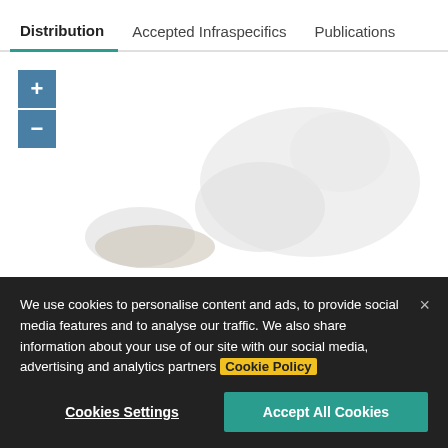Distribution   Accepted Infraspecifics   Publications
[Figure (map): Interactive distribution map with zoom controls (+ and -). Shows a faint geographic region shape in light gray. Two map zoom buttons visible on the left side.]
We use cookies to personalise content and ads, to provide social media features and to analyse our traffic. We also share information about your use of our site with our social media, advertising and analytics partners Cookie Policy
Cookies Settings    Accept All Cookies